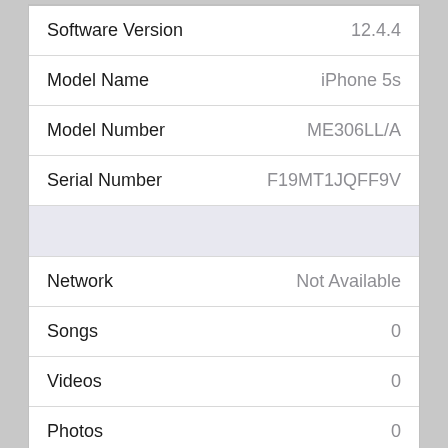| Field | Value |
| --- | --- |
| Software Version | 12.4.4 |
| Model Name | iPhone 5s |
| Model Number | ME306LL/A |
| Serial Number | F19MT1JQFF9V |
|  |  |
| Network | Not Available |
| Songs | 0 |
| Videos | 0 |
| Photos | 0 |
| Capacity | 16 GB |